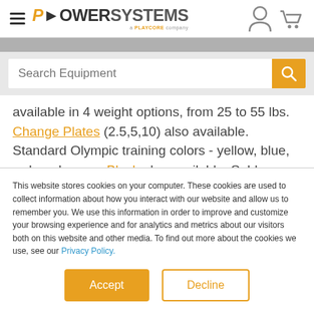[Figure (logo): Power Systems logo with hamburger menu icon, person icon, and cart icon in website header]
[Figure (screenshot): Search Equipment input bar with orange search button]
available in 4 weight options, from 25 to 55 lbs. Change Plates (2.5,5,10) also available. Standard Olympic training colors - yellow, blue, red, and green. Black also available. Sold individually - not in pairs. Racks, bars, and
This website stores cookies on your computer. These cookies are used to collect information about how you interact with our website and allow us to remember you. We use this information in order to improve and customize your browsing experience and for analytics and metrics about our visitors both on this website and other media. To find out more about the cookies we use, see our Privacy Policy.